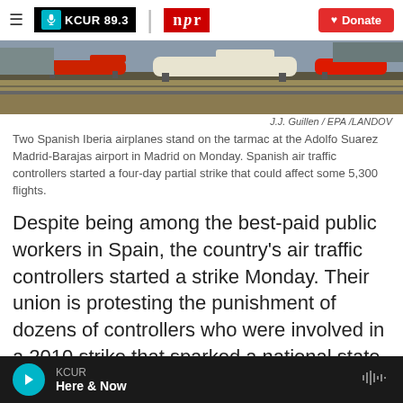KCUR 89.3 | npr | Donate
[Figure (photo): Two Spanish Iberia airplanes parked on the tarmac at an airport, with dry grass and runway visible in background]
J.J. Guillen / EPA /LANDOV
Two Spanish Iberia airplanes stand on the tarmac at the Adolfo Suarez Madrid-Barajas airport in Madrid on Monday. Spanish air traffic controllers started a four-day partial strike that could affect some 5,300 flights.
Despite being among the best-paid public workers in Spain, the country's air traffic controllers started a strike Monday. Their union is protesting the punishment of dozens of controllers who were involved in a 2010 strike that sparked a national state of alarm
KCUR  Here & Now